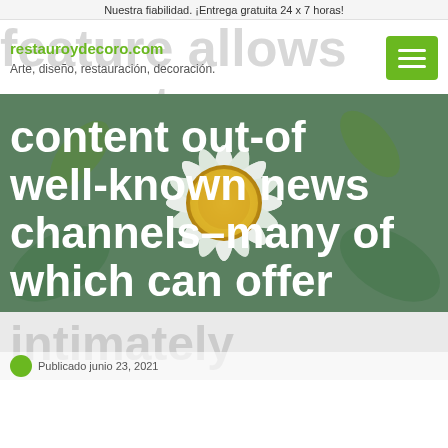Nuestra fiabilidad. ¡Entrega gratuita 24 x 7 horas!
restauroydecoro.com
Arte, diseño, restauración, decoración.
[Figure (photo): Close-up photo of a daisy flower with white petals and yellow center, with overlaid white bold text reading: content out-of well-known news channels–many of which can offer]
intimately
Publicado junio 23, 2021